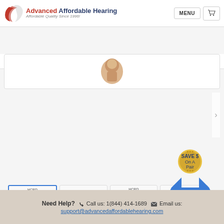[Figure (logo): Advanced Affordable Hearing logo with red/blue swoosh icon and text 'Advanced Affordable Hearing - Affordable Quality Since 1996!']
Have questions? 1 (844) 414-1689
[Figure (photo): Hearing aid product image (beige/tan BTE hearing aid)]
[Figure (photo): Four product thumbnails: HCRD Rechargeable Hearing Aid (Top Seller), ear with hearing aid, HCRD Hearing Aid Pair, HCRD Specifications]
List Price: $1,099.00
Price: $759.00
Sale Price: $349.00
[Figure (infographic): Gold and blue 'SAVE $ On A Pair' badge/seal]
Need Help? Call us: 1(844) 414-1689 Email us: support@advancedaffordablehearing.com